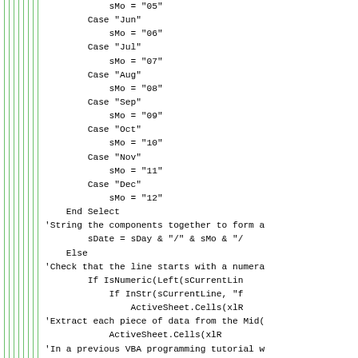Code snippet showing VBA Select Case for months and date string construction with comments